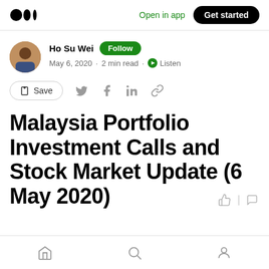Medium — Open in app · Get started
Ho Su Wei · Follow · May 6, 2020 · 2 min read · Listen
Malaysia Portfolio Investment Calls and Stock Market Update (6 May 2020)
Home · Search · Profile